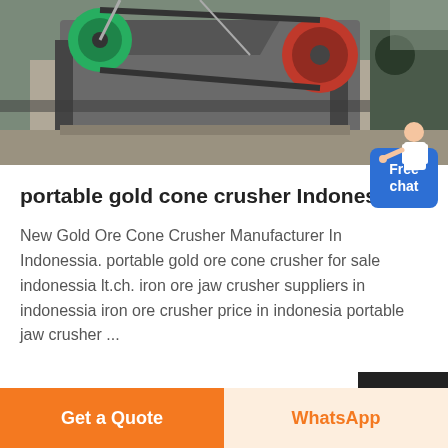[Figure (photo): Industrial machinery — gold ore cone crusher equipment, showing large metal gears, pulleys, belts and structural metal framing, photographed outdoors at a mining or industrial site. A green flywheel, red pulley and dark metal frame are visible.]
portable gold cone crusher Indonesia
New Gold Ore Cone Crusher Manufacturer In Indonessia. portable gold ore cone crusher for sale indonessia lt.ch. iron ore jaw crusher suppliers in indonessia iron ore crusher price in indonesia portable jaw crusher ...
Get a Quote | WhatsApp